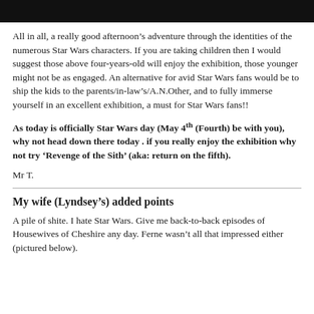All in all, a really good afternoon’s adventure through the identities of the numerous Star Wars characters. If you are taking children then I would suggest those above four-years-old will enjoy the exhibition, those younger might not be as engaged. An alternative for avid Star Wars fans would be to ship the kids to the parents/in-law’s/A.N.Other, and to fully immerse yourself in an excellent exhibition, a must for Star Wars fans!!
As today is officially Star Wars day (May 4th (Fourth) be with you), why not head down there today . if you really enjoy the exhibition why not try ‘Revenge of the Sith’ (aka: return on the fifth).
Mr T.
My wife (Lyndsey’s) added points
A pile of shite. I hate Star Wars. Give me back-to-back episodes of Housewives of Cheshire any day. Ferne wasn’t all that impressed either (pictured below).